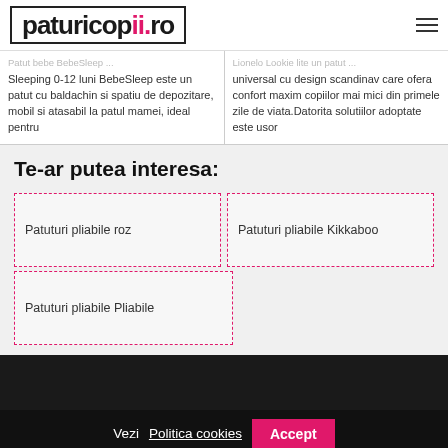paturicopii.ro
Sleeping 0-12 luni BebeSleep este un patut cu baldachin si spatiu de depozitare, mobil si atasabil la patul mamei, ideal pentru
universal cu design scandinav care ofera confort maxim copiilor mai mici din primele zile de viata.Datorita solutiilor adoptate este usor
Te-ar putea interesa:
Patuturi pliabile roz
Patuturi pliabile Kikkaboo
Patuturi pliabile Pliabile
Vezi Politica cookies   Accept